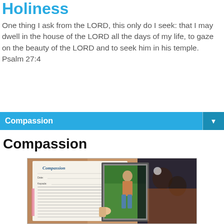Holiness
One thing I ask from the LORD, this only do I seek: that I may dwell in the house of the LORD all the days of my life, to gaze on the beauty of the LORD and to seek him in his temple. Psalm 27:4
Compassion
Compassion
[Figure (photo): A photograph showing a Compassion letter/document with handwritten text, and a framed photo of a young boy standing in a garden, held by a hand. Background is blurred with warm orange tones.]